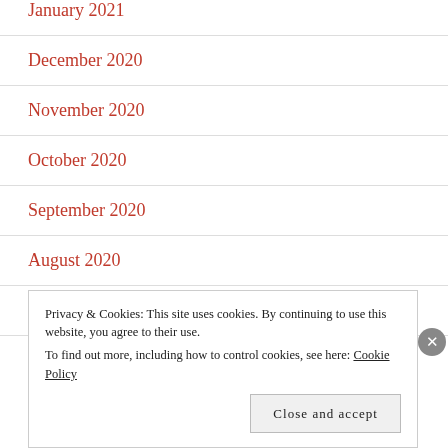January 2021
December 2020
November 2020
October 2020
September 2020
August 2020
July 2020
J…
Privacy & Cookies: This site uses cookies. By continuing to use this website, you agree to their use.
To find out more, including how to control cookies, see here: Cookie Policy
Close and accept